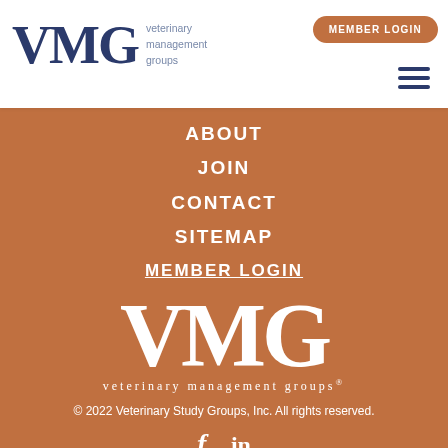[Figure (logo): VMG Veterinary Management Groups logo in header with dark blue serif VMG letters and gray subtitle text]
MEMBER LOGIN
ABOUT
JOIN
CONTACT
SITEMAP
MEMBER LOGIN
[Figure (logo): Large white VMG Veterinary Management Groups logo on brown background]
© 2022 Veterinary Study Groups, Inc. All rights reserved.
[Figure (other): Facebook and LinkedIn social media icons in white]